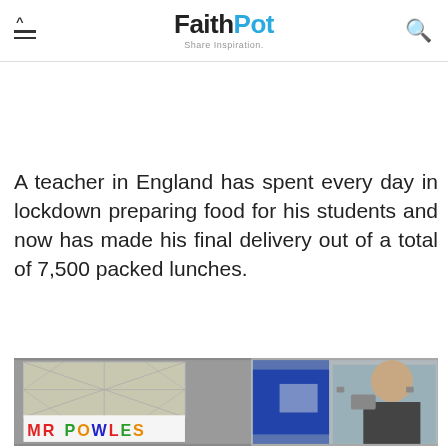FaithPot — Share Inspiration
A teacher in England has spent every day in lockdown preparing food for his students and now has made his final delivery out of a total of 7,500 packed lunches.
[Figure (photo): Left half shows a house window with a diamond-pane pattern and a sign reading MR POWLES in colourful letters. Right half shows a bald man wearing glasses and a large backpack standing in front of a blue door.]